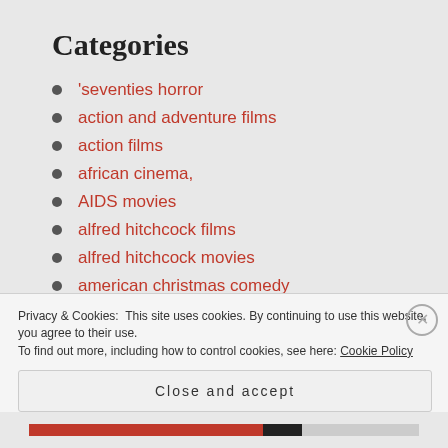Categories
'seventies horror
action and adventure films
action films
african cinema,
AIDS movies
alfred hitchcock films
alfred hitchcock movies
american christmas comedy
american drama
american horror films
Privacy & Cookies: This site uses cookies. By continuing to use this website, you agree to their use.
To find out more, including how to control cookies, see here: Cookie Policy
Close and accept